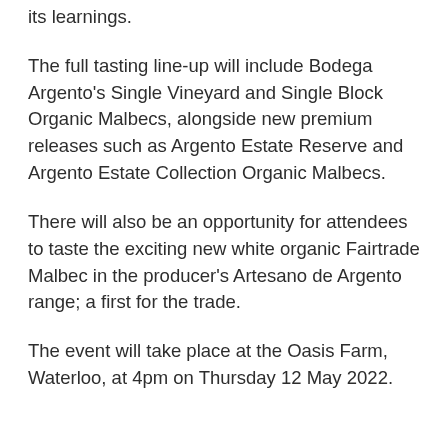its learnings.
The full tasting line-up will include Bodega Argento's Single Vineyard and Single Block Organic Malbecs, alongside new premium releases such as Argento Estate Reserve and Argento Estate Collection Organic Malbecs.
There will also be an opportunity for attendees to taste the exciting new white organic Fairtrade Malbec in the producer's Artesano de Argento range; a first for the trade.
The event will take place at the Oasis Farm, Waterloo, at 4pm on Thursday 12 May 2022.